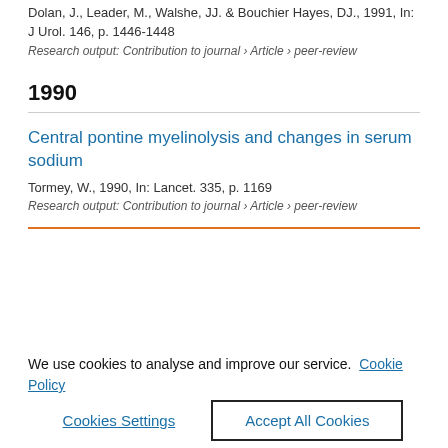Dolan, J., Leader, M., Walshe, JJ. & Bouchier Hayes, DJ., 1991, In: J Urol. 146, p. 1446-1448
Research output: Contribution to journal › Article › peer-review
1990
Central pontine myelinolysis and changes in serum sodium
Tormey, W., 1990, In: Lancet. 335, p. 1169
Research output: Contribution to journal › Article › peer-review
We use cookies to analyse and improve our service. Cookie Policy
Cookies Settings
Accept All Cookies